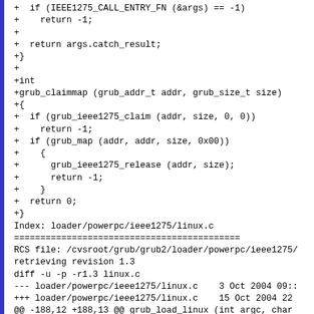+  if (IEEE1275_CALL_ENTRY_FN (&args) == -1)
+    return -1;
+
+  return args.catch_result;
+}
+
+int
+grub_claimmap (grub_addr_t addr, grub_size_t size)
+{
+  if (grub_ieee1275_claim (addr, size, 0, 0))
+    return -1;
+  if (grub_map (addr, addr, size, 0x00))
+    {
+      grub_ieee1275_release (addr, size);
+      return -1;
+    }
+  return 0;
+}
Index: loader/powerpc/ieee1275/linux.c
========================================
RCS file: /cvsroot/grub/grub2/loader/powerpc/ieee1275/
retrieving revision 1.3
diff -u -p -r1.3 linux.c
--- loader/powerpc/ieee1275/linux.c    3 Oct 2004 09::
+++ loader/powerpc/ieee1275/linux.c    15 Oct 2004 22
@@ -188,12 +188,13 @@ grub_load_linux (int argc, char
    /* Reserve memory for the kernel.  */
    linux_size += 0x100000;

-  if (grub_ieee1275_claim (entry, linux_size, 0, &linu